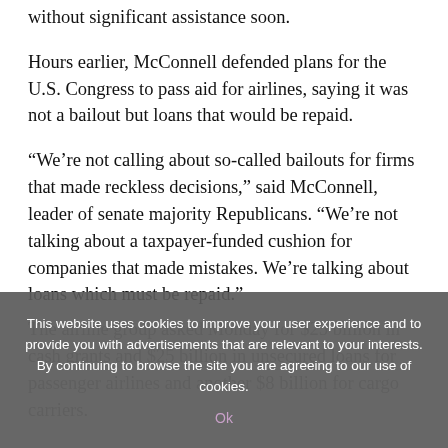without significant assistance soon.
Hours earlier, McConnell defended plans for the U.S. Congress to pass aid for airlines, saying it was not a bailout but loans that would be repaid.
“We’re not calling about so-called bailouts for firms that made reckless decisions,” said McConnell, leader of senate majority Republicans. “We’re not talking about a taxpayer-funded cushion for companies that made mistakes. We’re talking about loans which must be repaid.”
The airline group asked Monday for $25 billion in cash grants and $25 billion in unsecured loans for passenger airlines and another $8 billion for cargo carriers.
This website uses cookies to improve your user experience and to provide you with advertisements that are relevant to your interests. By continuing to browse the site you are agreeing to our use of cookies.
Ok